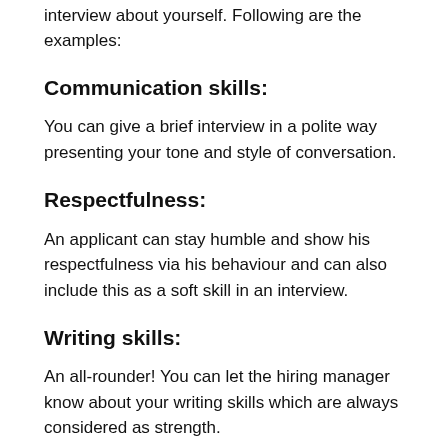interview about yourself. Following are the examples:
Communication skills:
You can give a brief interview in a polite way presenting your tone and style of conversation.
Respectfulness:
An applicant can stay humble and show his respectfulness via his behaviour and can also include this as a soft skill in an interview.
Writing skills:
An all-rounder! You can let the hiring manager know about your writing skills which are always considered as strength.